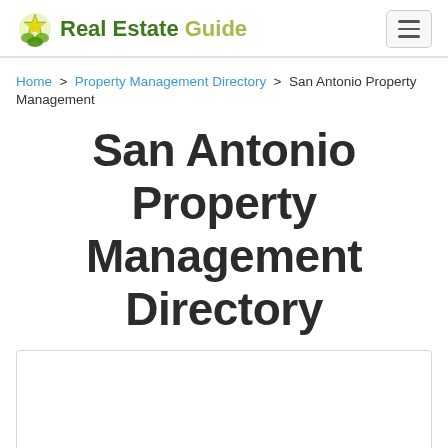Real Estate Guide
Home > Property Management Directory > San Antonio Property Management
San Antonio Property Management Directory
[Figure (other): White content placeholder box with light grey border]